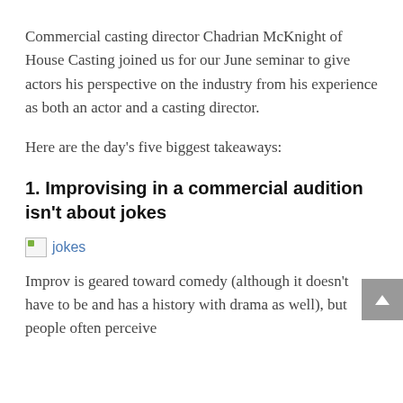Commercial casting director Chadrian McKnight of House Casting joined us for our June seminar to give actors his perspective on the industry from his experience as both an actor and a casting director.
Here are the day’s five biggest takeaways:
1. Improvising in a commercial audition isn’t about jokes
[Figure (other): Broken image placeholder with alt text 'jokes' displayed as a link in blue]
Improv is geared toward comedy (although it doesn’t have to be and has a history with drama as well), but people often perceive